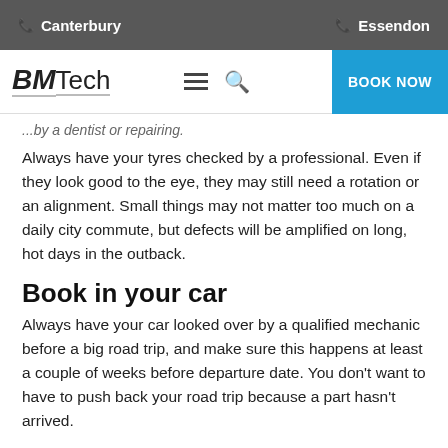Canterbury    Essendon
[Figure (logo): BMTech logo with hamburger menu, search icon, and BOOK NOW button]
...by a dentist or repairing.
Always have your tyres checked by a professional. Even if they look good to the eye, they may still need a rotation or an alignment. Small things may not matter too much on a daily city commute, but defects will be amplified on long, hot days in the outback.
Book in your car
Always have your car looked over by a qualified mechanic before a big road trip, and make sure this happens at least a couple of weeks before departure date. You don't want to have to push back your road trip because a part hasn't arrived.